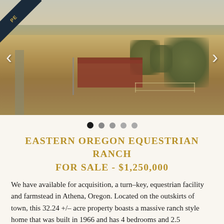[Figure (photo): Aerial view of an equestrian ranch property in Eastern Oregon showing a large red barn, fenced fields, trees, and surrounding farmland under a hazy sky]
EASTERN OREGON EQUESTRIAN RANCH FOR SALE - $1,250,000
We have available for acquisition, a turn–key, equestrian facility and farmstead in Athena, Oregon. Located on the outskirts of town, this 32.24 +/– acre property boasts a massive ranch style home that was built in 1966 and has 4 bedrooms and 2.5 bathrooms.